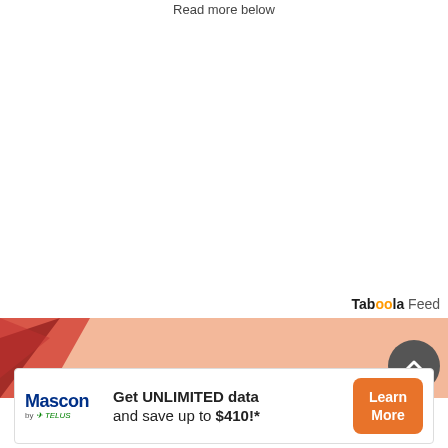Read more below
[Figure (logo): Taboola Feed logo/label in top-right area]
[Figure (illustration): Salmon/peach colored ad banner background with abstract red/dark layered triangle shape on the left side]
[Figure (other): Dark grey circular scroll-up button with white chevron arrow]
[Figure (other): Mascon by TELUS advertisement card: Get UNLIMITED data and save up to $410!* with Learn More orange button]